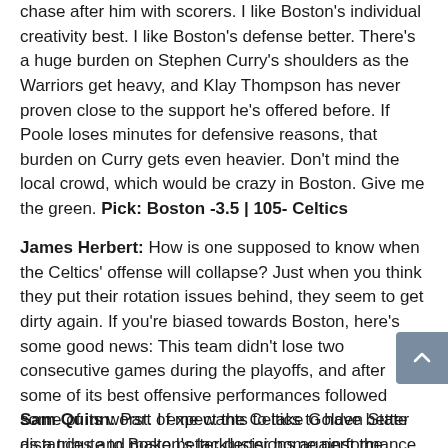chase after him with scorers. I like Boston's individual creativity best. I like Boston's defense better. There's a huge burden on Stephen Curry's shoulders as the Warriors get heavy, and Klay Thompson has never proven close to the support he's offered before. If Poole loses minutes for defensive reasons, that burden on Curry gets even heavier. Don't mind the local crowd, which would be crazy in Boston. Give me the green. Pick: Boston -3.5 | 105- Celtics
James Herbert: How is one supposed to know when the Celtics' offense will collapse? Just when you think they put their rotation issues behind, they seem to get dirty again. If you're biased towards Boston, here's some good news: This team didn't lose two consecutive games during the playoffs, and after some of its best offensive performances followed some of its worst. I expect the Celtics to have better distances and make better decisions against the Warriors' half-court defense. Pick: Boston -3.5 | Celtics 116, Warriors 108
Sam Quinn: Part of me wants to take Golden State as a tribute to Boston's lackluster home performance in the post-season. The Celtics have won the Palm. Some people think...